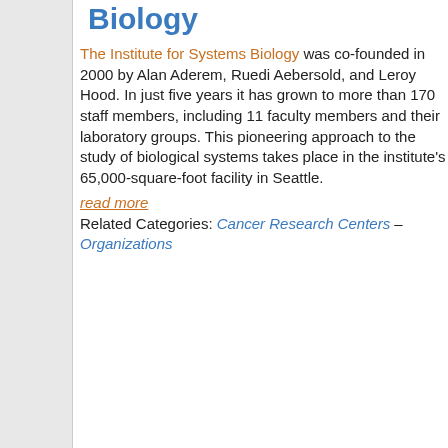Biology
The Institute for Systems Biology was co-founded in 2000 by Alan Aderem, Ruedi Aebersold, and Leroy Hood. In just five years it has grown to more than 170 staff members, including 11 faculty members and their laboratory groups. This pioneering approach to the study of biological systems takes place in the institute's 65,000-square-foot facility in Seattle.
read more
Related Categories: Cancer Research Centers – Organizations